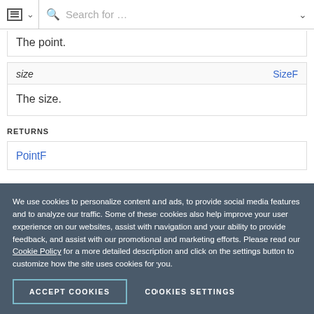Search for ...
| The point. |
| size | SizeF |
| --- | --- |
| The size. |
RETURNS
| PointF |
| --- |
We use cookies to personalize content and ads, to provide social media features and to analyze our traffic. Some of these cookies also help improve your user experience on our websites, assist with navigation and your ability to provide feedback, and assist with our promotional and marketing efforts. Please read our Cookie Policy for a more detailed description and click on the settings button to customize how the site uses cookies for you.
ACCEPT COOKIES   COOKIES SETTINGS